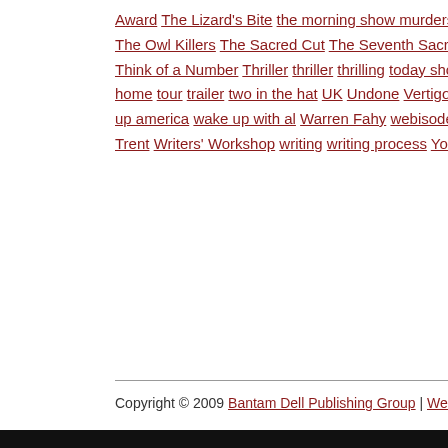Award The Lizard's Bite the morning show murders The Neighbor the neighbor The Owl Killers The Sacred Cut The Seventh Sacrament The Villa of Mysteries Think of a Number Thriller thriller thrilling today show Tom Piccirilli too close to home tour trailer two in the hat UK Undone Vertigo video videos Vietnam wake up america wake up with al Warren Fahy webisode Whispers of the Dead Will Trent Writers' Workshop writing writing process Yoda
Copyright © 2009 Bantam Dell Publishing Group | Webmaster | Privac…